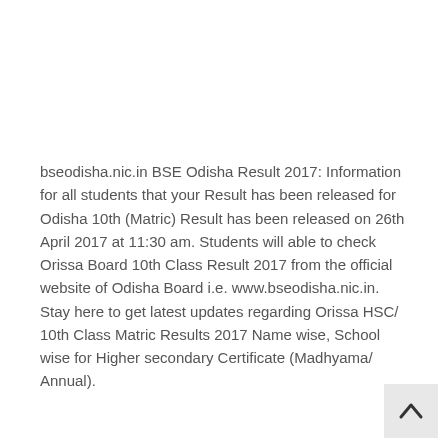bseodisha.nic.in BSE Odisha Result 2017: Information for all students that your Result has been released for Odisha 10th (Matric) Result has been released on 26th April 2017 at 11:30 am. Students will able to check Orissa Board 10th Class Result 2017 from the official website of Odisha Board i.e. www.bseodisha.nic.in. Stay here to get latest updates regarding Orissa HSC/ 10th Class Matric Results 2017 Name wise, School wise for Higher secondary Certificate (Madhyama/ Annual).